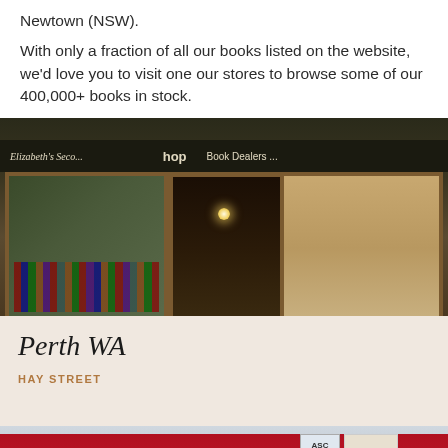Newtown (NSW).

With only a fraction of all our books listed on the website, we'd love you to visit one our stores to browse some of our 400,000+ books in stock.
[Figure (photo): Exterior photo of Elizabeth's Secondhand Bookshop storefront, showing the dark facade with signs reading 'Elizabeth's Seco...' and 'Book Dealers...' and 'hop', wooden door frame, interior visible with bookshelves and a hanging globe light]
Perth WA
HAY STREET
[Figure (photo): Exterior photo of a Secondhand Bookshop with a red sign reading 's Secondhand Bookshop', 'OPEN TO THE PUBLIC', 'NO PARKING ENTRY', 'OPEN 7 DAYS', 'ASC' tag visible]